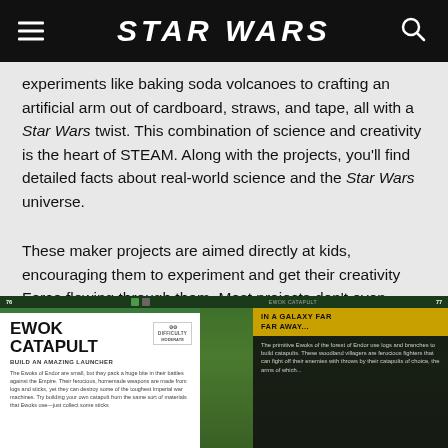STAR WARS
experiments like baking soda volcanoes to crafting an artificial arm out of cardboard, straws, and tape, all with a Star Wars twist. This combination of science and creativity is the heart of STEAM. Along with the projects, you'll find detailed facts about real-world science and the Star Wars universe.
These maker projects are aimed directly at kids, encouraging them to experiment and get their creativity Force flowing through them. Most projects don't even require a trip to the store and can be put together with items you already have stocked in the pantry or stashed in the recycling bin.
[Figure (screenshot): Screenshot of book spread showing Ewok Catapult project page with white card on left side displaying title 'EWOK CATAPULT - BUILD AN AMAZING LAUNCHER', body text about Ewoks and catapults, and a photo of a wooden catapult in a forest setting on the right, plus a 'IN A GALAXY FAR FAR AWAY...' yellow-headed info panel on the far right.]